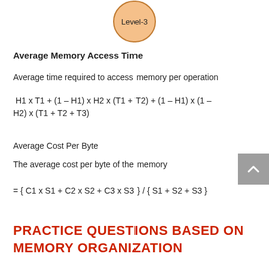[Figure (other): Circle with peach/orange fill labeled 'Level-3']
Average Memory Access Time
Average time required to access memory per operation
Average Cost Per Byte
The average cost per byte of the memory
PRACTICE Questions BASED ON MEMORY ORGANIZATION